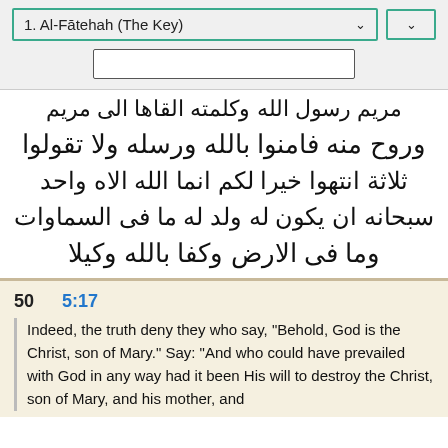1. Al-Fātehah (The Key)
[Figure (screenshot): Search input box]
مريم رسول الله وكلمته القاها الى مريم
وروح منه فامنوا بالله ورسله ولا تقولوا
ثلاثة انتهوا خيرا لكم انما الله الاه واحد
سبحانه ان يكون له ولد له ما فى السماوات
وما فى الارض وكفا بالله وكيلا
50   5:17
Indeed, the truth deny they who say, "Behold, God is the Christ, son of Mary." Say: "And who could have prevailed with God in any way had it been His will to destroy the Christ, son of Mary, and his mother, and